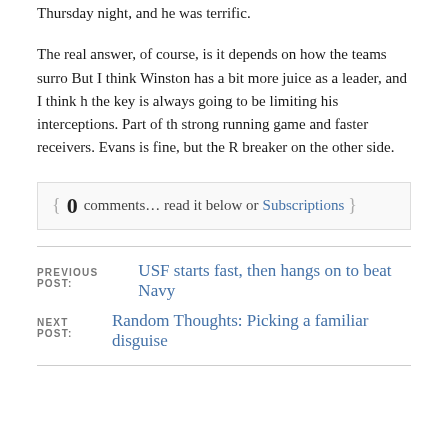Thursday night, and he was terrific.
The real answer, of course, is it depends on how the teams surro... But I think Winston has a bit more juice as a leader, and I think h... the key is always going to be limiting his interceptions. Part of th... strong running game and faster receivers. Evans is fine, but the R... breaker on the other side.
{ 0 comments… read it below or Subscriptions }
PREVIOUS POST: USF starts fast, then hangs on to beat Navy
NEXT POST: Random Thoughts: Picking a familiar disguise